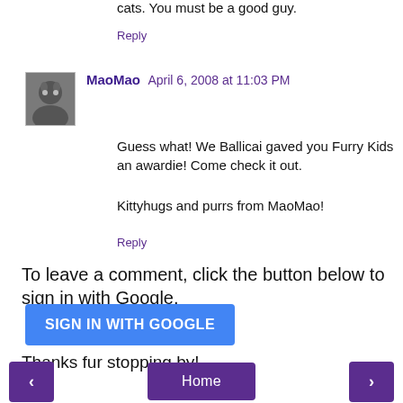cats. You must be a good guy.
Reply
MaoMao  April 6, 2008 at 11:03 PM
Guess what! We Ballicai gaved you Furry Kids an awardie! Come check it out.

Kittyhugs and purrs from MaoMao!
Reply
To leave a comment, click the button below to sign in with Google.
SIGN IN WITH GOOGLE
Thanks fur stopping by!
< Home >